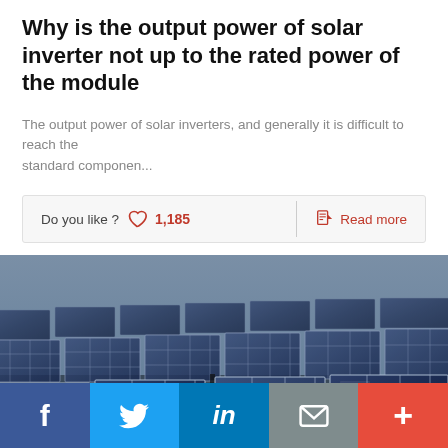Why is the output power of solar inverter not up to the rated power of the module
The output power of solar inverters, and generally it is difficult to reach the standard componen...
Do you like ?  1,185   Read more
[Figure (photo): Aerial view of a large solar panel farm with many rows of photovoltaic panels tilted toward the sky]
f  t  in  mail  +